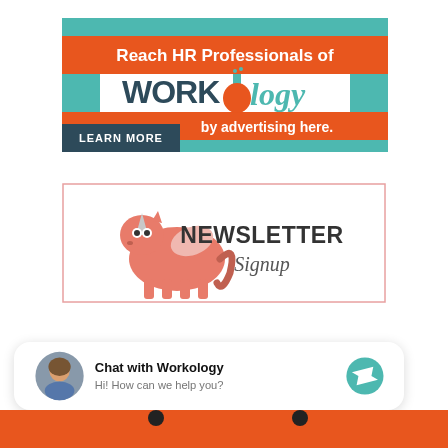[Figure (illustration): Workology advertising banner. Teal and orange design with text 'Reach HR Professionals of Workology by advertising here.' and a LEARN MORE button.]
[Figure (illustration): Newsletter Signup banner with a cartoon pink unicorn pegasus on the left and bold text 'NEWSLETTER Signup' on the right, in a box with a pink border.]
[Figure (illustration): Chat widget with a circular profile photo of a woman, text 'Chat with Workology' in bold and 'Hi! How can we help you?' below, and a teal Messenger icon on the right.]